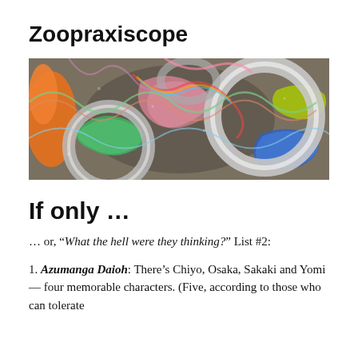Zoopraxiscope
[Figure (illustration): Colorful abstract digital art with intertwining rings, spirals, and ribbons in orange, green, pink, blue, yellow, and grey tones on a dark background.]
If only …
… or, “What the hell were they thinking?” List #2:
1. Azumanga Daioh: There’s Chiyo, Osaka, Sakaki and Yomi — four memorable characters. (Five, according to those who can tolerate